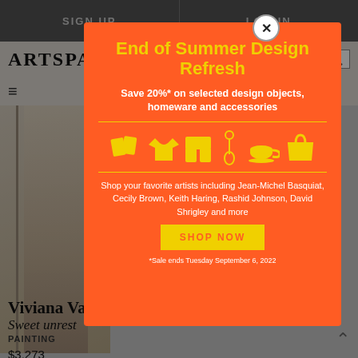SIGN UP   LOG IN
[Figure (screenshot): Artspace website header with logo, hamburger menu, cart and search icons, and a partial artwork image on the left side]
End of Summer Design Refresh
Save 20%* on selected design objects, homeware and accessories
[Figure (illustration): Yellow icons of design objects: cushions/books, t-shirt, shorts, pendant necklace, teacup, tote bag]
Shop your favorite artists including Jean-Michel Basquiat, Cecily Brown, Keith Haring, Rashid Johnson, David Shrigley and more
SHOP NOW
*Sale ends Tuesday September 6, 2022
Viviana Vana
Sweet unrest
PAINTING
$3,273